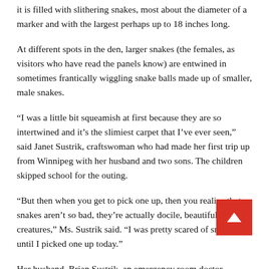it is filled with slithering snakes, most about the diameter of a marker and with the largest perhaps up to 18 inches long.
At different spots in the den, larger snakes (the females, as visitors who have read the panels know) are entwined in sometimes frantically wiggling snake balls made up of smaller, male snakes.
“I was a little bit squeamish at first because they are so intertwined and it’s the slimiest carpet that I’ve ever seen,” said Janet Sustrik, craftswoman who had made her first trip up from Winnipeg with her husband and two sons. The children skipped school for the outing.
“But then when you get to pick one up, then you realize that snakes aren’t so bad, they’re actually docile, beautiful little creatures,” Ms. Sustrik said. “I was pretty scared of snakes until I picked one up today.”
Her husband, Brian Sustrik, an emergency room doctor,